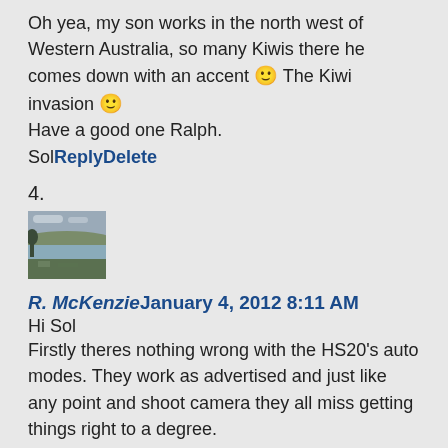Oh yea, my son works in the north west of Western Australia, so many Kiwis there he comes down with an accent 🙂 The Kiwi invasion 🙂
Have a good one Ralph.
Sol ReplyDelete
4.
[Figure (photo): Small landscape photo showing a scenic view with water and fields under a cloudy sky.]
R. McKenzie January 4, 2012 8:11 AM
Hi Sol
Firstly theres nothing wrong with the HS20's auto modes. They work as advertised and just like any point and shoot camera they all miss getting things right to a degree.
Shooting the HS20 in EXR Dynamic Range mode is basically Full Auto , but you get to alter the EV and